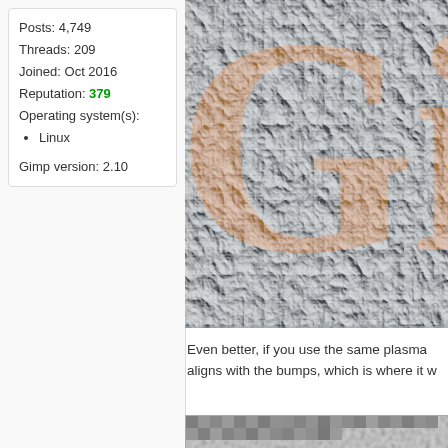Posts: 4,749
Threads: 209
Joined: Oct 2016
Reputation: 379
Operating system(s):
• Linux

Gimp version: 2.10
[Figure (photo): Close-up of embossed stone texture with orange/gold 'Gim' text (GIMP logo letters) on gray bumpy surface]
Even better, if you use the same plasma aligns with the bumps, which is where it w
[Figure (photo): Bottom partial image showing pixelated gray texture, beginning of another GIMP example image]